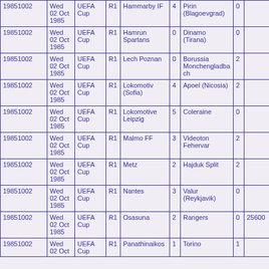| 19851002 | Wed 02 Oct 1985 | UEFA Cup | R1 | Hammarby IF | 4 | Pirin (Blagoevgrad) | 0 |  |
| 19851002 | Wed 02 Oct 1985 | UEFA Cup | R1 | Hamrun Spartans | 0 | Dinamo (Tirana) | 0 |  |
| 19851002 | Wed 02 Oct 1985 | UEFA Cup | R1 | Lech Poznan | 0 | Borussia Monchengladbach | 2 |  |
| 19851002 | Wed 02 Oct 1985 | UEFA Cup | R1 | Lokomotiv (Sofia) | 4 | Apoel (Nicosia) | 2 |  |
| 19851002 | Wed 02 Oct 1985 | UEFA Cup | R1 | Lokomotive Leipzig | 5 | Coleraine | 0 |  |
| 19851002 | Wed 02 Oct 1985 | UEFA Cup | R1 | Malmo FF | 3 | Videoton Fehervar | 2 |  |
| 19851002 | Wed 02 Oct 1985 | UEFA Cup | R1 | Metz | 2 | Hajduk Split | 2 |  |
| 19851002 | Wed 02 Oct 1985 | UEFA Cup | R1 | Nantes | 3 | Valur (Reykjavik) | 0 |  |
| 19851002 | Wed 02 Oct 1985 | UEFA Cup | R1 | Osasuna | 2 | Rangers | 0 | 25600 |
| 19851002 | Wed 02 Oct 1985 (partial) | UEFA Cup | R1 | Panathinaikos | 1 | Torino | 1 |  |